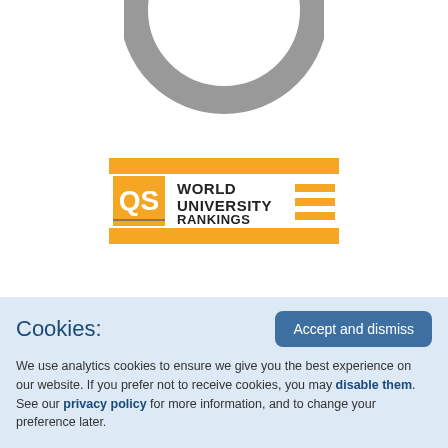[Figure (logo): Partial circular charter badge in grey with text 'DER CHARTER' visible along the arc]
[Figure (logo): QS World University Rankings logo with orange/yellow horizontal bars and dark text]
[Figure (logo): The Guardian University Guide logo with 'the' in grey, 'guardian' in bold dark blue, and 'University Guide' below in dark serif font]
Cookies: We use analytics cookies to ensure we give you the best experience on our website. If you prefer not to receive cookies, you may disable them. See our privacy policy for more information, and to change your preference later.